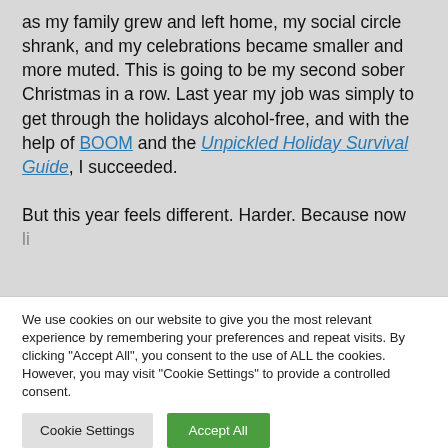as my family grew and left home, my social circle shrank, and my celebrations became smaller and more muted. This is going to be my second sober Christmas in a row. Last year my job was simply to get through the holidays alcohol-free, and with the help of BOOM and the Unpickled Holiday Survival Guide, I succeeded.

But this year feels different. Harder. Because now li…
We use cookies on our website to give you the most relevant experience by remembering your preferences and repeat visits. By clicking "Accept All", you consent to the use of ALL the cookies. However, you may visit "Cookie Settings" to provide a controlled consent.